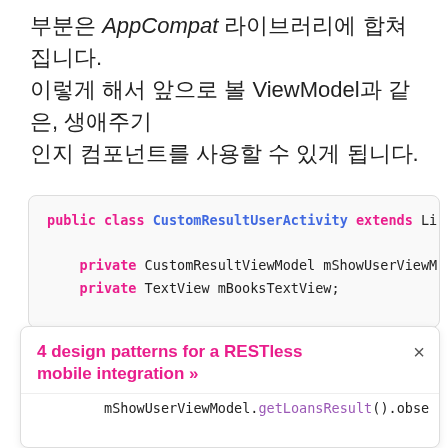부분은 AppCompat 라이브러리에 합쳐집니다. 이렇게 해서 앞으로 볼 ViewModel과 같은, 생애주기 인지 컴포넌트를 사용할 수 있게 됩니다.
[Figure (screenshot): Code block showing Java Android code for CustomResultUserActivity class with onCreate method and ViewModel usage]
4 design patterns for a RESTless mobile integration »
mShowUserViewModel.getLoansResult().obse